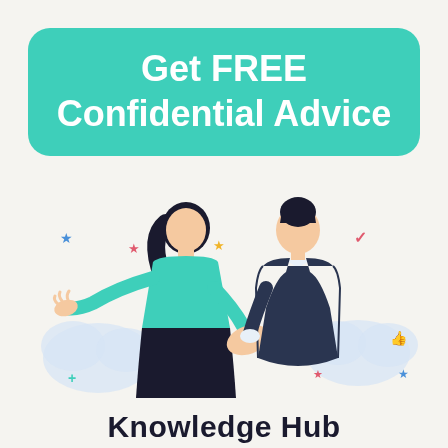Get FREE Confidential Advice
[Figure (illustration): Two people shaking hands — a woman in a teal top leaning forward with an open hand gesture and a man in a dark suit leaning forward to shake hands. Decorative star and check-mark icons scattered around them, with soft cloud shapes in the background.]
Knowledge Hub